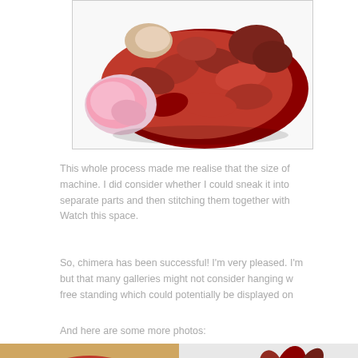[Figure (photo): A large sculptural mass of red and crimson yarn/textile with some cream/pink tones, photographed on a white background. The piece appears to be a chunky knitted or crocheted textile sculpture.]
This whole process made me realise that the size of machine. I did consider whether I could sneak it into separate parts and then stitching them together with Watch this space.
So, chimera has been successful! I'm very pleased. I'm but that many galleries might not consider hanging w free standing which could potentially be displayed on
And here are some more photos:
[Figure (photo): Top-down view of a red, pink, and white chunky yarn sculpture laid flat on a wooden surface.]
[Figure (photo): Side view of a dark red/crimson chunky yarn sculpture on a light background.]